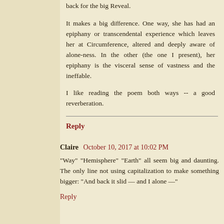back for the big Reveal.

It makes a big difference. One way, she has had an epiphany or transcendental experience which leaves her at Circumference, altered and deeply aware of alone-ness. In the other (the one I present), her epiphany is the visceral sense of vastness and the ineffable.

I like reading the poem both ways -- a good reverberation.
Reply
Claire  October 10, 2017 at 10:02 PM
"Way" "Hemisphere" "Earth" all seem big and daunting. The only line not using capitalization to make something bigger: "And back it slid — and I alone —"
Reply